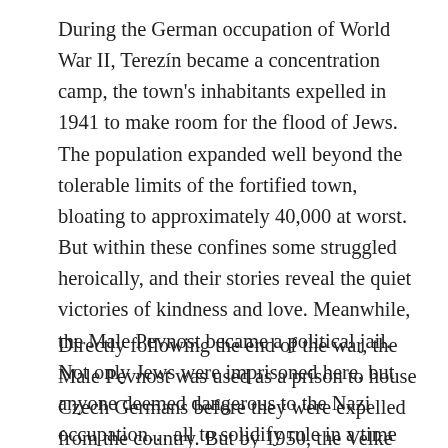During the German occupation of World War II, Terezín became a concentration camp, the town's inhabitants expelled in 1941 to make room for the flood of Jews. The population expanded well beyond the tolerable limits of the fortified town, bloating to approximately 40,000 at worst. But within these confines some struggled heroically, and their stories reveal the quiet victories of kindness and love. Meanwhile, the Male Pevnost became a political jail. Not only Jews were imprisoned here, but anyone deemed dangerous to the Nazi occupation… all to solidify rule in a time of "peace."
Directly following the end of the war, the Male Pevnost was used as a prison to house Czech Germans before they were expelled from the country. But by 1950, the Velké Pevnost had over 3000 inhabitants, and who became known as the Terezín…